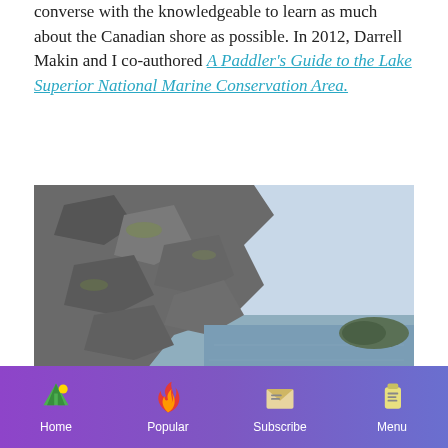converse with the knowledgeable to learn as much about the Canadian shore as possible. In 2012, Darrell Makin and I co-authored A Paddler's Guide to the Lake Superior National Marine Conservation Area.
[Figure (photo): A person standing on a rocky pebble beach beside several kayaks. Large granite rock face on the left, calm lake water in the middle, small island visible in distance on the right.]
Home | Popular | Subscribe | Menu